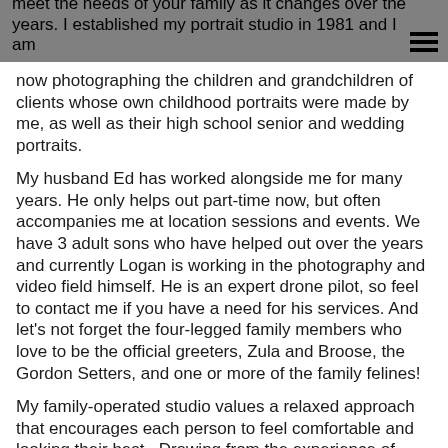form lasting bonds with my new clients as I continue to meet the needs of your family as it changes over the years. I established my portrait studio in 1981 and I am now photographing the children and grandchildren of clients whose own childhood portraits were made by me, as well as their high school senior and wedding portraits.
My husband Ed has worked alongside me for many years. He only helps out part-time now, but often accompanies me at location sessions and events. We have 3 adult sons who have helped out over the years and currently Logan is working in the photography and video field himself. He is an expert drone pilot, so feel to contact me if you have a need for his services. And let's not forget the four-legged family members who love to be the official greeters, Zula and Broose, the Gordon Setters, and one or more of the family felines!
My family-operated studio values a relaxed approach that encourages each person to feel comfortable and looking their best.  Drawing from the experience of raising three sons, my ability to understand a child's personality enables me to capture the transformation that occurs from